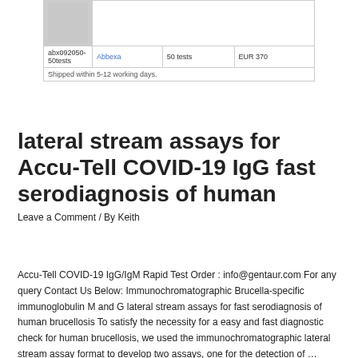|  |  | 50 tests | EUR 370 |
| --- | --- | --- | --- |
| [image] |  |  |  |
| abx092050-50tests | Abbexa | 50 tests | EUR 370 |
| Shipped within 5-12 working days. |  |  |  |
lateral stream assays for Accu-Tell COVID-19 IgG fast serodiagnosis of human
Leave a Comment / By Keith
Accu-Tell COVID-19 IgG/IgM Rapid Test Order : info@gentaur.com For any query Contact Us Below: Immunochromatographic Brucella-specific immunoglobulin M and G lateral stream assays for fast serodiagnosis of human brucellosis To satisfy the necessity for a easy and fast diagnostic check for human brucellosis, we used the immunochromatographic lateral stream assay format to develop two assays, one for the detection of …